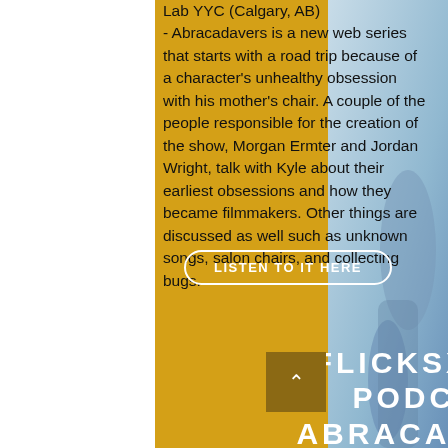Lab YYC (Calgary, AB)
- Abracadavers is a new web series that starts with a road trip because of a character's unhealthy obsession with his mother's chair. A couple of the people responsible for the creation of the show, Morgan Ermter and Jordan Wright, talk with Kyle about their earliest obsessions and how they became filmmakers. Other things are discussed as well such as unknown songs, salon chairs, and collecting bugs.
LISTEN TO IT HERE
FLICKSXRAYED PODCAST - ABRACADAVERS/ WHAT WE DO IN
[Figure (photo): Partial photo visible on the right side of the page, appears to show a person, with blue/grey tones]